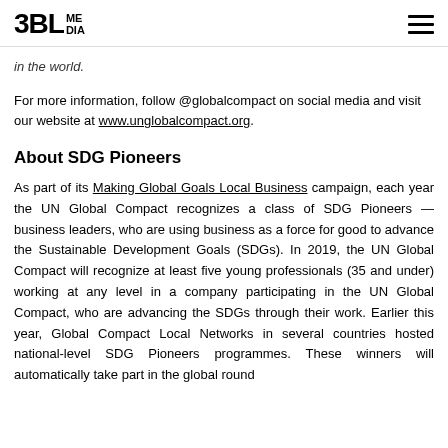3BL MEDIA [logo] [hamburger menu]
in the world.
For more information, follow @globalcompact on social media and visit our website at www.unglobalcompact.org.
About SDG Pioneers
As part of its Making Global Goals Local Business campaign, each year the UN Global Compact recognizes a class of SDG Pioneers — business leaders, who are using business as a force for good to advance the Sustainable Development Goals (SDGs). In 2019, the UN Global Compact will recognize at least five young professionals (35 and under) working at any level in a company participating in the UN Global Compact, who are advancing the SDGs through their work. Earlier this year, Global Compact Local Networks in several countries hosted national-level SDG Pioneers programmes. These winners will automatically take part in the global round